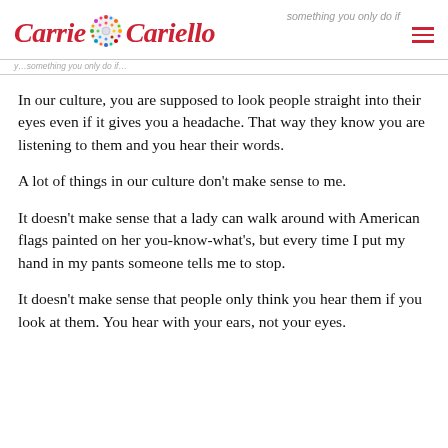Carrie Cariello | something you only do if
In our culture, you are supposed to look people straight into their eyes even if it gives you a headache. That way they know you are listening to them and you hear their words.
A lot of things in our culture don't make sense to me.
It doesn't make sense that a lady can walk around with American flags painted on her you-know-what's, but every time I put my hand in my pants someone tells me to stop.
It doesn't make sense that people only think you hear them if you look at them. You hear with your ears, not your eyes.